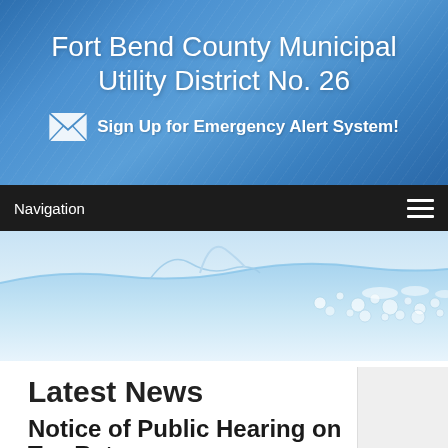Fort Bend County Municipal Utility District No. 26
Sign Up for Emergency Alert System!
Navigation
[Figure (photo): Water splash photograph showing blue water wave with bubbles and foam on a white background]
Latest News
Notice of Public Hearing on Tax Rate